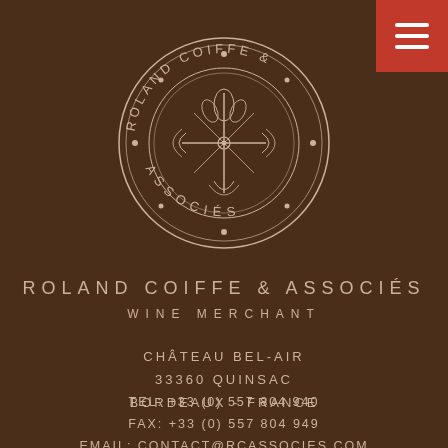[Figure (logo): Roland Coiffe & Associés circular logo with decorative fleur-de-lis and ornamental design, text around the circle reads ROLAND COIFFE & ASSOCIES, beige/tan color on dark brown background]
ROLAND COIFFE & ASSOCIÉS
WINE MERCHANT
CHÂTEAU BEL-AIR
33360 QUINSAC
BORDEAUX - FRANCE
TEL: +33 (0) 557 804 940
FAX: +33 (0) 557 804 949
EMAIL: CONTACT@RCASSOCIES.COM